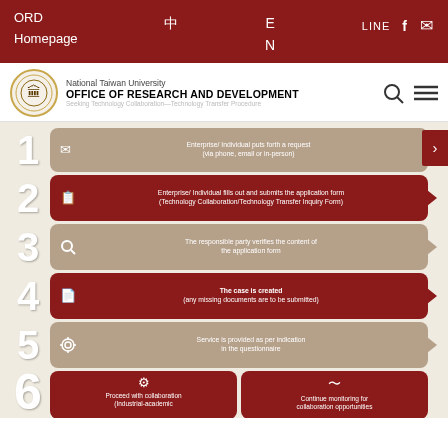ORD Homepage  中  E N  LINE  f  ✉
[Figure (screenshot): NTU Office of Research and Development website header with logo, search and menu icons, and breadcrumb navigation]
[Figure (flowchart): Technology Transfer Procedure flowchart with 6 numbered steps: 1) Enterprise/Individual puts forth a request (via phone, email or in-person), 2) Enterprise/Individual fills out and submits the application form (Technology Collaboration/Technology Transfer Inquiry Form), 3) The responsible party verifies the content of the application form, 4) The case is created (any missing documents are to be submitted), 5) Service is provided as per indication in the questionnaire, 6) Proceed with collaboration (Industrial-academic) / Continue monitoring for collaboration opportunities]